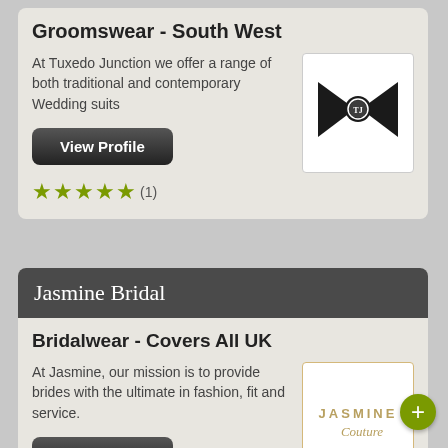Groomswear - South West
At Tuxedo Junction we offer a range of both traditional and contemporary Wedding suits
[Figure (logo): Tuxedo Junction logo: black bow-tie shape with a circular emblem in the center on white background]
View Profile
★★★★★ (1)
Jasmine Bridal
Bridalwear - Covers All UK
At Jasmine, our mission is to provide brides with the ultimate in fashion, fit and service.
[Figure (logo): Jasmine Couture logo: text 'JASMINE Couture' in gold/tan color on white background with gold border]
View Profile